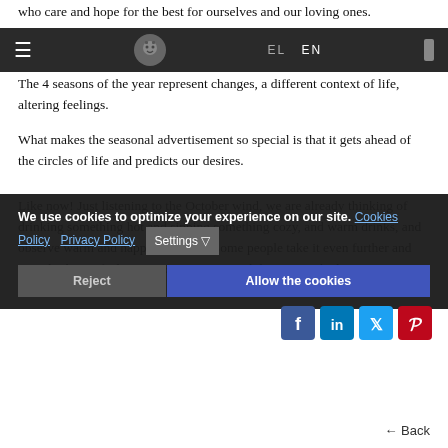who care and hope for the best for ourselves and our loving ones.
The 4 seasons of the year represent changes, a different context of life, altering feelings.
What makes the seasonal advertisement so special is that it gets ahead of the circles of life and predicts our desires.
Like now! Just listening to the October wind, we are already thinking of drinking something hot and sipping something cozy, and warm drinks, and observe warm and happy, in from... Some people take it even further and start thinking of Christmas stepping around the corner, the homey nature.
We use cookies to optimize your experience on our site. Cookies Policy  Privacy Policy  Settings ▽
Reject    Allow the cookies
Back